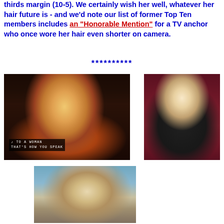thirds margin (10-5). We certainly wish her well, whatever her hair future is - and we'd note our list of former Top Ten members includes an "Honorable Mention" for a TV anchor who once wore her hair even shorter on camera.
**********
[Figure (photo): Close-up screen capture of a woman with long auburn/red wavy hair singing or performing, with subtitle text overlay reading '♪ TO A WOMAN / THAT'S HOW YOU SPEAK']
[Figure (photo): Photo of a smiling blonde woman with long straight hair wearing a black outfit with a keyhole neckline, standing at a microphone]
[Figure (photo): Close-up screen capture of a woman with blonde wavy hair, appears to be performing or singing]